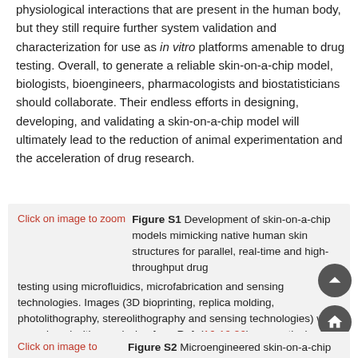physiological interactions that are present in the human body, but they still require further system validation and characterization for use as in vitro platforms amenable to drug testing. Overall, to generate a reliable skin-on-a-chip model, biologists, bioengineers, pharmacologists and biostatisticians should collaborate. Their endless efforts in designing, developing, and validating a skin-on-a-chip model will ultimately lead to the reduction of animal experimentation and the acceleration of drug research.
[Figure (other): Figure S1 thumbnail with broken image placeholder and caption: Development of skin-on-a-chip models mimicking native human skin structures for parallel, real-time and high-throughput drug testing using microfluidics, microfabrication and sensing technologies. Images (3D bioprinting, replica molding, photolithography, stereolithography and sensing technologies) were reproduced with permission from Ref. (16-19,30), respectively.]
[Figure (other): Figure S2 thumbnail with broken image placeholder and caption: Microengineered skin-on-a-chip models.]